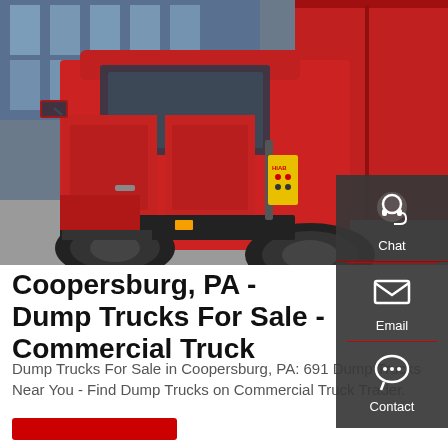[Figure (photo): Red dump truck cab and dump bed photographed from the side in a parking area near a building. The truck has a yellow HIAB hydraulic component visible.]
[Figure (infographic): Dark gray sidebar panel with three icons and labels: Chat (headset icon), Email (envelope icon), Contact (speech bubble icon with dots), separated by red horizontal lines.]
Coopersburg, PA - Dump Trucks For Sale - Commercial Truck
Dump Trucks For Sale in Coopersburg, PA: 691 Dump Trucks Near You - Find Dump Trucks on Commercial Truck Trader.